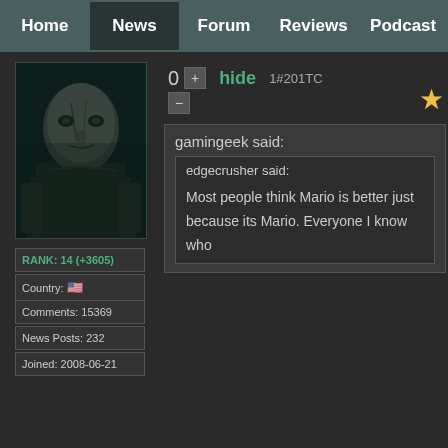Home | News | Forum | Reviews | Podcast
[Figure (photo): Avatar image of a bald, scarred video game character in dark armor]
RANK: 14 (+3605)
Country: 🇺🇸
Comments: 15369
News Posts: 232
Joined: 2008-06-21
0
hide
1#201TC
gamingeek said:
edgecrusher said:
Most people think Mario is better just because its Mario. Everyone I know who